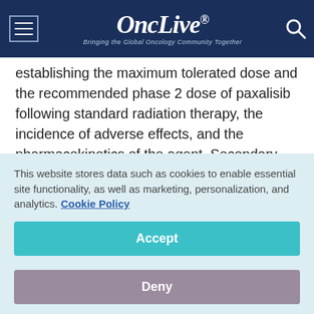OncLive® — Bringing the Global Oncology Community Together
establishing the maximum tolerated dose and the recommended phase 2 dose of paxalisib following standard radiation therapy, the incidence of adverse effects, and the pharmacokinetics of the agent. Secondary end points include best overall response, duration of best overall response, PFS, and OS.
The d... (clipped — partially visible)
This website stores data such as cookies to enable essential site functionality, as well as marketing, personalization, and analytics. Cookie Policy
Accept
Deny